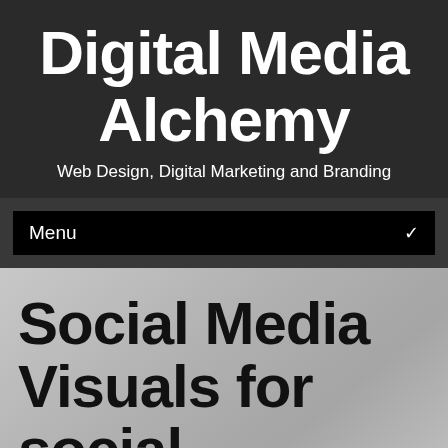Digital Media Alchemy
Web Design, Digital Marketing and Branding
Menu
Social Media Visuals for social